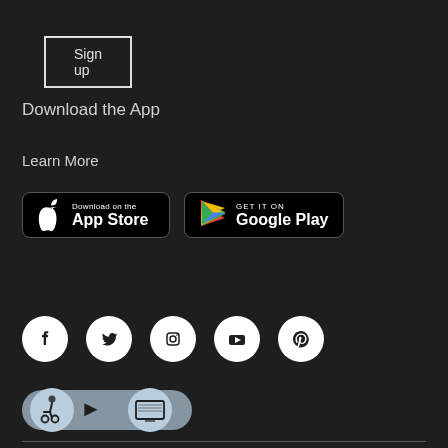Sign up
Download the App
Learn More
[Figure (other): App Store and Google Play download badges]
[Figure (other): Social media icon row: Facebook, Twitter, Instagram, YouTube, Pinterest]
[Figure (other): Accessibility widget showing wheelchair, arrow, and computer icons]